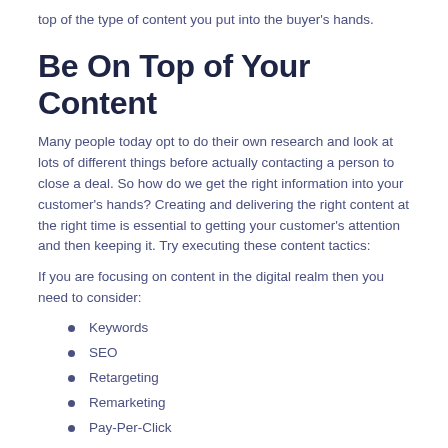top of the type of content you put into the buyer's hands.
Be On Top of Your Content
Many people today opt to do their own research and look at lots of different things before actually contacting a person to close a deal. So how do we get the right information into your customer's hands? Creating and delivering the right content at the right time is essential to getting your customer's attention and then keeping it. Try executing these content tactics:
If you are focusing on content in the digital realm then you need to consider:
Keywords
SEO
Retargeting
Remarketing
Pay-Per-Click
Landing Pages
SEM